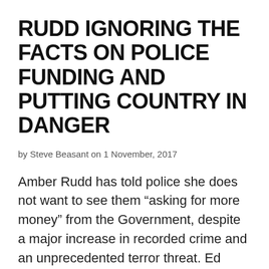RUDD IGNORING THE FACTS ON POLICE FUNDING AND PUTTING COUNTRY IN DANGER
by Steve Beasant on 1 November, 2017
Amber Rudd has told police she does not want to see them “asking for more money” from the Government, despite a major increase in recorded crime and an unprecedented terror threat. Ed Davey MP, Liberal Democrat Home Affairs Spokesperson, commented: “To ignore